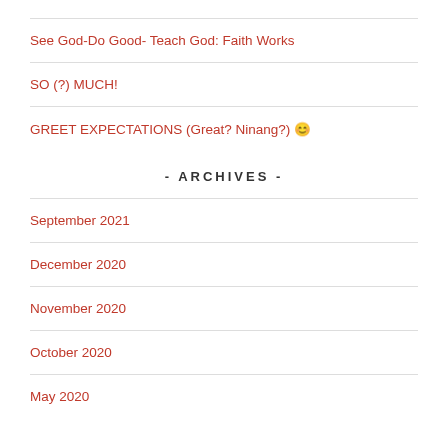See God-Do Good- Teach God: Faith Works
SO (?) MUCH!
GREET EXPECTATIONS (Great? Ninang?) 😊
- ARCHIVES -
September 2021
December 2020
November 2020
October 2020
May 2020